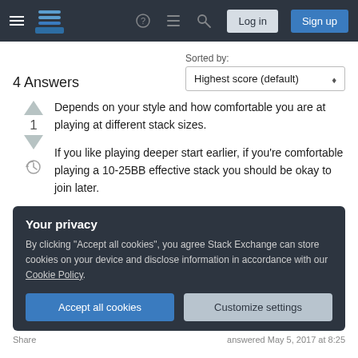[Figure (screenshot): Stack Exchange navigation bar with hamburger menu, logo, help icon, chat icon, search icon, Log in button, and Sign up button]
4 Answers
Sorted by: Highest score (default)
Depends on your style and how comfortable you are at playing at different stack sizes.
If you like playing deeper start earlier, if you're comfortable playing a 10-25BB effective stack you should be okay to join later.
Your privacy
By clicking "Accept all cookies", you agree Stack Exchange can store cookies on your device and disclose information in accordance with our Cookie Policy.
Accept all cookies
Customize settings
Share	answered May 5, 2017 at 8:25